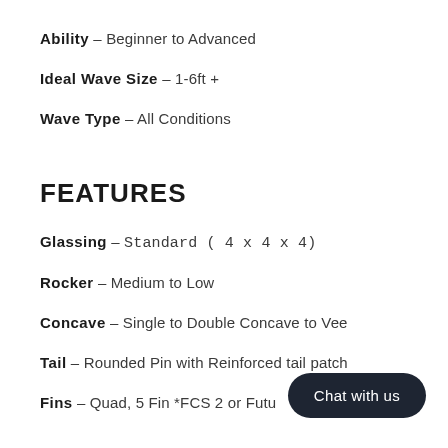Ability – Beginner to Advanced
Ideal Wave Size – 1-6ft +
Wave Type – All Conditions
FEATURES
Glassing – Standard ( 4 x 4 x 4)
Rocker – Medium to Low
Concave – Single to Double Concave to Vee
Tail – Rounded Pin with Reinforced tail patch
Fins – Quad, 5 Fin *FCS 2 or Futu...